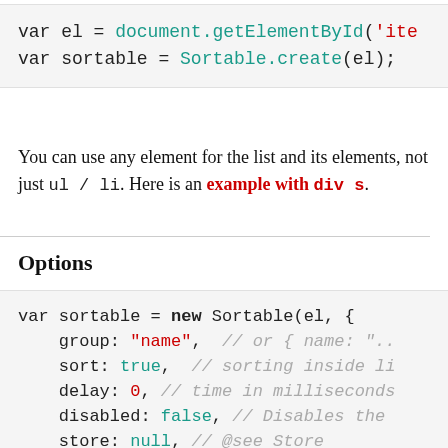[Figure (screenshot): Code block showing: var el = document.getElementById('ite  and  var sortable = Sortable.create(el);]
You can use any element for the list and its elements, not just ul / li. Here is an example with div s.
Options
[Figure (screenshot): Code block showing: var sortable = new Sortable(el, { group: "name", // or { name: ".. sort: true, // sorting inside li delay: 0, // time in milliseconds disabled: false, // Disables the store: null, // @see Store]